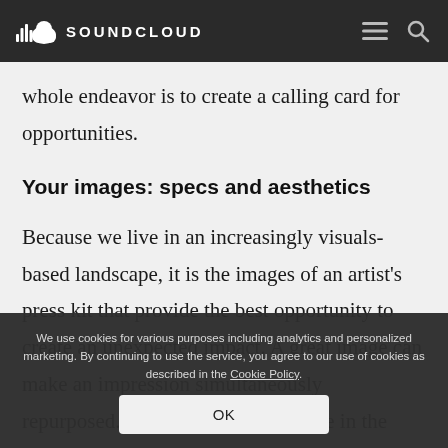SOUNDCLOUD
whole endeavor is to create a calling card for opportunities.
Your images: specs and aesthetics
Because we live in an increasingly visuals-based landscape, it is the images of an artist's press kit that provide the best opportunity to create an unexpected impact. A great image can make an impression simultaneously repurposed. It can support a storyline in the artist's bio, or be instrumental in defining a new aesthetic. An image that is
We use cookies for various purposes including analytics and personalized marketing. By continuing to use the service, you agree to our use of cookies as described in the Cookie Policy.
OK